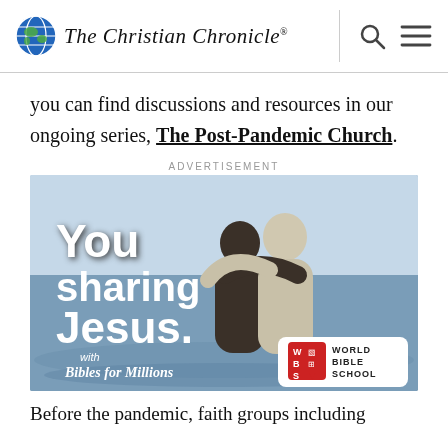The Christian Chronicle
you can find discussions and resources in our ongoing series, The Post-Pandemic Church.
ADVERTISEMENT
[Figure (photo): World Bible School advertisement showing two people hugging in water with text 'You sharing Jesus. with Bibles for Millions' and World Bible School logo.]
Before the pandemic, faith groups including